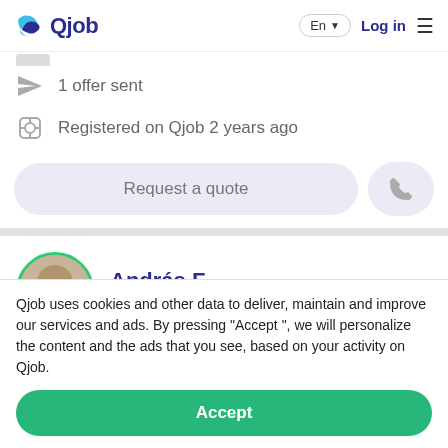Qjob — En | Log in
1 offer sent
Registered on Qjob 2 years ago
Request a quote
András F.
1013 Budapest
Qjob uses cookies and other data to deliver, maintain and improve our services and ads. By pressing "Accept ", we will personalize the content and the ads that you see, based on your activity on Qjob.
Accept